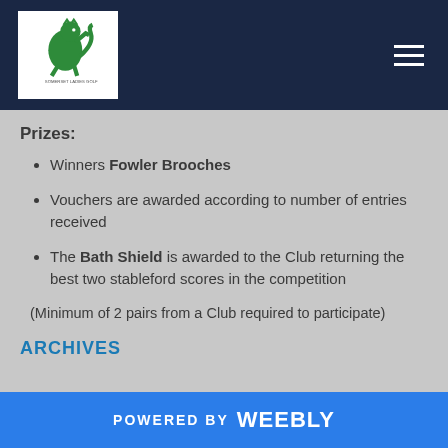[Figure (logo): Somerset Ladies golf club logo - green heraldic lion on white background]
Prizes:
Winners Fowler Brooches
Vouchers are awarded according to number of entries received
The Bath Shield is awarded to the Club returning the best two stableford scores in the competition
(Minimum of 2 pairs from a Club required to participate)
ARCHIVES
POWERED BY weebly